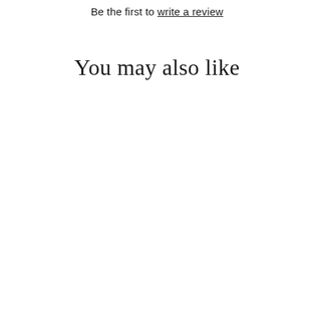Be the first to write a review
You may also like